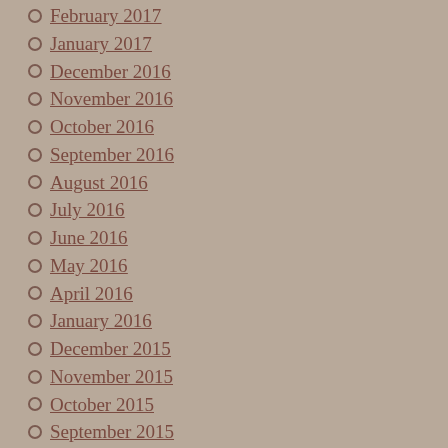February 2017
January 2017
December 2016
November 2016
October 2016
September 2016
August 2016
July 2016
June 2016
May 2016
April 2016
January 2016
December 2015
November 2015
October 2015
September 2015
August 2015
July 2015
June 2015
May 2015
April 2015